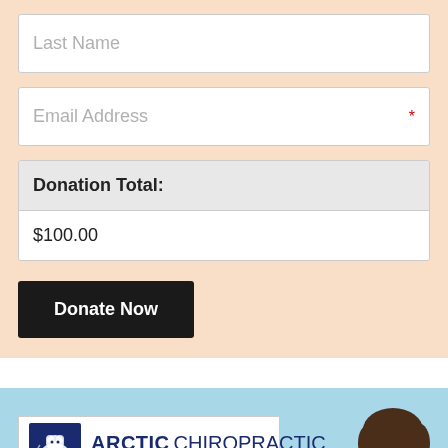Last Name
Email Address *
| Donation Total: |
| --- |
| $100.00 |
Donate Now
[Figure (logo): Arctic Chiropractic Rehabilitation and Physical Therapy logo with polar bear icon and partial face photo of a woman]